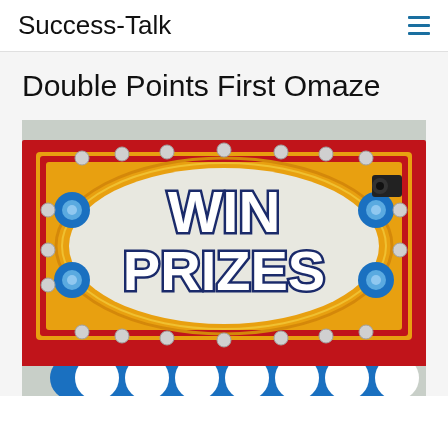Success-Talk
Double Points First Omaze
[Figure (photo): A colorful carnival prize booth sign with 'WIN PRIZES' text in large stylized letters on a yellow and red background with decorative blue circles and silver ornaments, with blue and white scalloped trim at the bottom.]